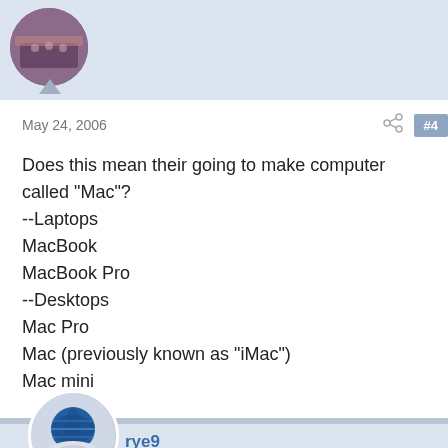[Figure (photo): Circular avatar of a user, showing hands on a keyboard, with blue-tinted profile image. Located at the top of the post.]
May 24, 2006
#4
Does this mean their going to make computer called "Mac"?
--Laptops
MacBook
MacBook Pro
--Desktops
Mac Pro
Mac (previously known as "iMac")
Mac mini
[Figure (photo): Circular avatar of user rye9, showing a blue globe/world icon on what appears to be a CD or disk.]
rye9
macrumors 65816
May 24, 2006